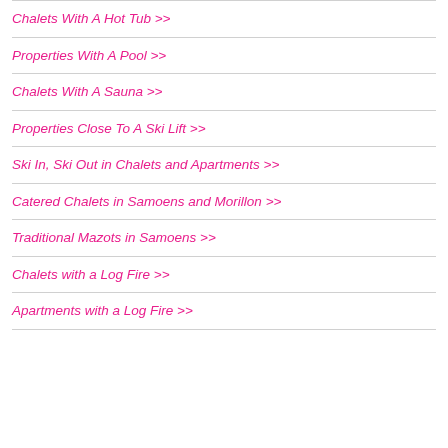Chalets With A Hot Tub >>
Properties With A Pool >>
Chalets With A Sauna >>
Properties Close To A Ski Lift >>
Ski In, Ski Out in Chalets and Apartments >>
Catered Chalets in Samoens and Morillon >>
Traditional Mazots in Samoens >>
Chalets with a Log Fire >>
Apartments with a Log Fire >>